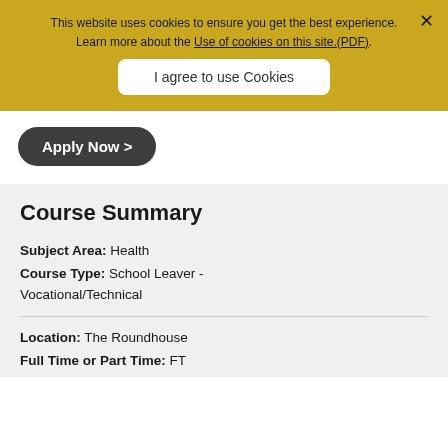This website uses cookies to ensure you get the best experience. Learn more about the Use of cookies on this site.(PDF).
I agree to use Cookies
Apply Now >
Course Summary
Subject Area: Health
Course Type: School Leaver - Vocational/Technical
Location: The Roundhouse
Full Time or Part Time: FT